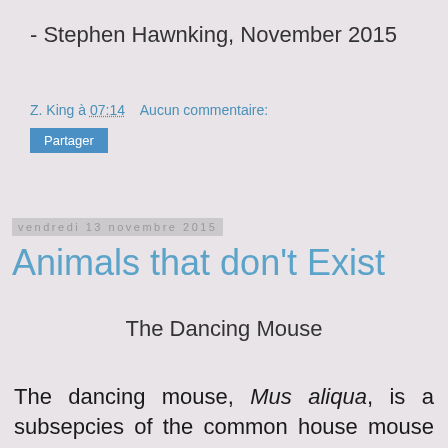- Stephen Hawnking, November 2015
Z. King à 07:14    Aucun commentaire:
Partager
vendredi 13 novembre 2015
Animals that don't Exist
The Dancing Mouse
The dancing mouse, Mus aliqua, is a subsepcies of the common house mouse that seems well on its way to complete speciation. As of yet undistinguishable by